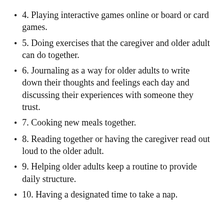4. Playing interactive games online or board or card games.
5. Doing exercises that the caregiver and older adult can do together.
6. Journaling as a way for older adults to write down their thoughts and feelings each day and discussing their experiences with someone they trust.
7. Cooking new meals together.
8. Reading together or having the caregiver read out loud to the older adult.
9. Helping older adults keep a routine to provide daily structure.
10. Having a designated time to take a nap.